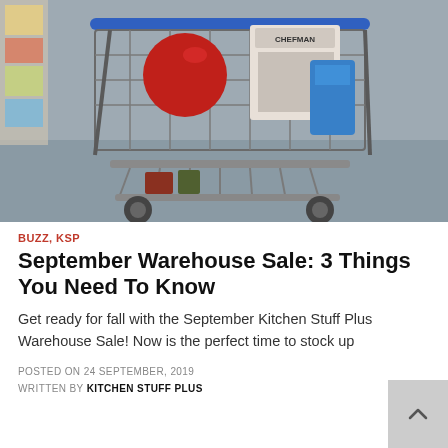[Figure (photo): A shopping cart loaded with various kitchen items including a red appliance, blue container, and a Chefman branded item, photographed in a store aisle with grey flooring.]
BUZZ, KSP
September Warehouse Sale: 3 Things You Need To Know
Get ready for fall with the September Kitchen Stuff Plus Warehouse Sale! Now is the perfect time to stock up
POSTED ON 24 SEPTEMBER, 2019
WRITTEN BY KITCHEN STUFF PLUS